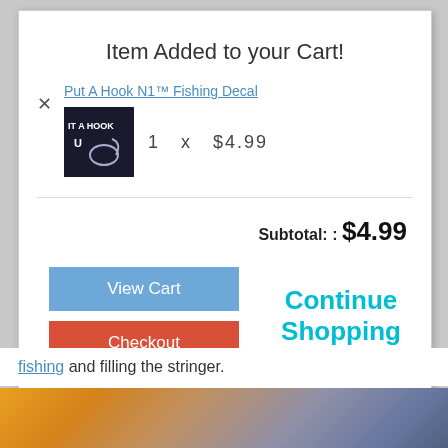Item Added to your Cart!
Put A Hook N1™ Fishing Decal
1  x  $4.99
Subtotal: : $4.99
View Cart
Checkout
Continue Shopping
fishing and filling the stringer.
[Figure (photo): Outdoor landscape photo with golden/orange sky and dark mountain silhouette]